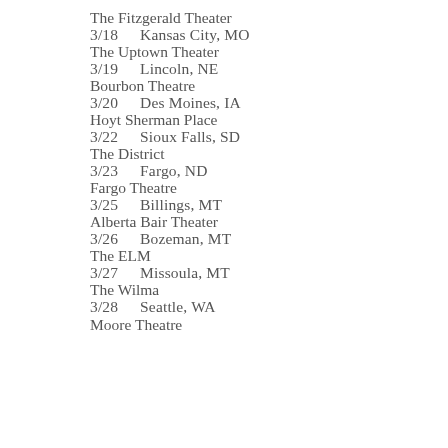The Fitzgerald Theater
3/18   Kansas City, MO
The Uptown Theater
3/19   Lincoln, NE
Bourbon Theatre
3/20   Des Moines, IA
Hoyt Sherman Place
3/22   Sioux Falls, SD
The District
3/23   Fargo, ND
Fargo Theatre
3/25   Billings, MT
Alberta Bair Theater
3/26   Bozeman, MT
The ELM
3/27   Missoula, MT
The Wilma
3/28   Seattle, WA
Moore Theatre